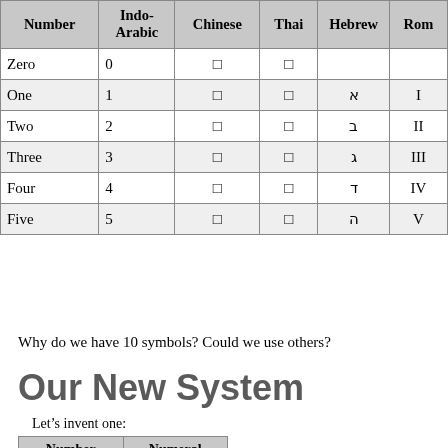| Number | Indo-Arabic | Chinese | Thai | Hebrew | Rom |
| --- | --- | --- | --- | --- | --- |
| Zero | 0 | 〇 | ๐ |  |  |
| One | 1 | 一 | ๑ | א | I |
| Two | 2 | 二 | ๒ | ב | II |
| Three | 3 | 三 | ๓ | ג | III |
| Four | 4 | 四 | ๔ | ד | IV |
| Five | 5 | 五 | ๕ | ה | V |
Why do we have 10 symbols? Could we use others?
Our New System
Let's invent one:
| Number | Numeral |
| --- | --- |
| Zero | ⊙ |